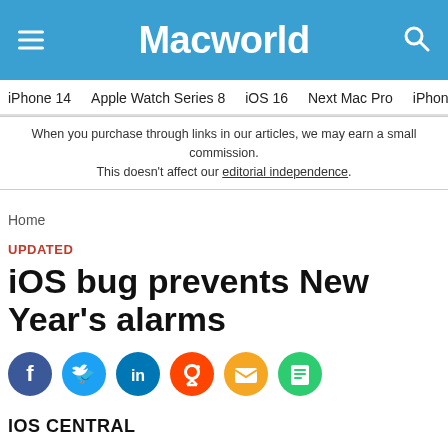Macworld
iPhone 14  Apple Watch Series 8  iOS 16  Next Mac Pro  iPhone d
When you purchase through links in our articles, we may earn a small commission. This doesn't affect our editorial independence.
Home
UPDATED
iOS bug prevents New Year's alarms
[Figure (other): Social sharing icons: Facebook, Twitter, LinkedIn, Reddit, Email, Print]
IOS CENTRAL